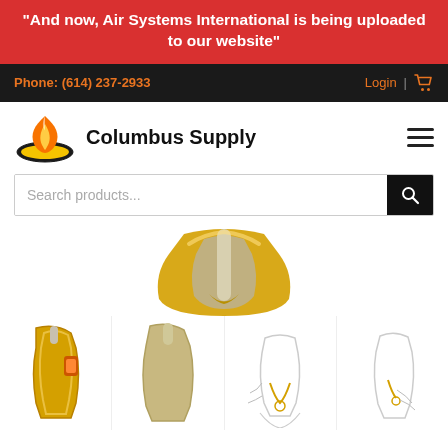"And now, Air Systems International is being uploaded to our website"
Phone: (614) 237-2933  Login
Columbus Supply
[Figure (screenshot): Search products input box with black search button]
[Figure (photo): Close-up of a gold-colored carabiner top gate mechanism]
[Figure (photo): Four thumbnail product images of carabiners: gold/orange carabiner, beige carabiner, silver carabiner, line drawings of carabiners in use]